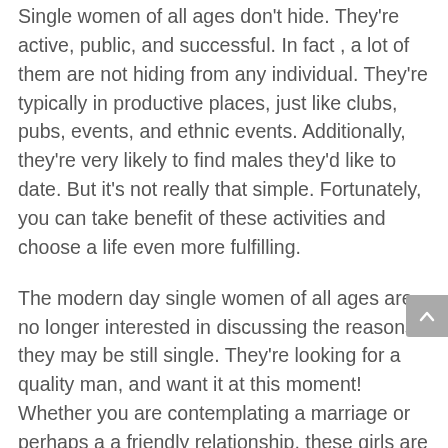Single women of all ages don't hide. They're active, public, and successful. In fact , a lot of them are not hiding from any individual. They're typically in productive places, just like clubs, pubs, events, and ethnic events. Additionally, they're very likely to find males they'd like to date. But it's not really that simple. Fortunately, you can take benefit of these activities and choose a life even more fulfilling.
The modern day single women of all ages are no longer interested in discussing the reasons they may be still single. They're looking for a quality man, and want it at this moment! Whether you are contemplating a marriage or perhaps a a friendly relationship, these girls are not enthusiastic about wasting all their time and money having a man exactly who doesn't deserve them. You don't need to be a committed man to meet women who are seeking a relationship.